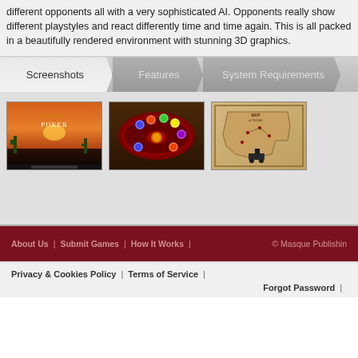different opponents all with a very sophisticated AI. Opponents really show different playstyles and react differently time and time again. This is all packed in a beautifully rendered environment with stunning 3D graphics.
Screenshots | Features | System Requirements
[Figure (screenshot): Screenshot 1: Governor of Poker game title screen with desert sunset background and cacti]
[Figure (screenshot): Screenshot 2: Top-down view of a red poker table with chips and cards]
[Figure (screenshot): Screenshot 3: Vintage map of Texas with locations marked]
About Us | Submit Games | How It Works | © Masque Publishing
Privacy & Cookies Policy | Terms of Service | Forgot Password |